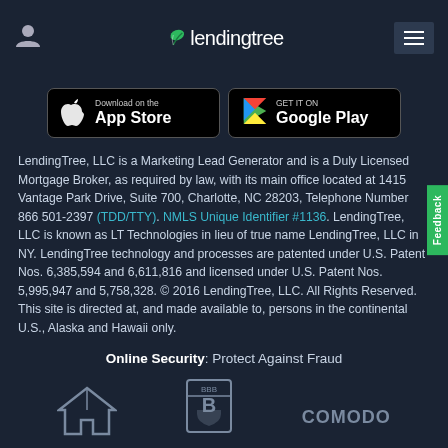LendingTree (logo header with navigation)
[Figure (screenshot): App Store and Google Play download buttons]
LendingTree, LLC is a Marketing Lead Generator and is a Duly Licensed Mortgage Broker, as required by law, with its main office located at 1415 Vantage Park Drive, Suite 700, Charlotte, NC 28203, Telephone Number 866 501-2397 (TDD/TTY). NMLS Unique Identifier #1136. LendingTree, LLC is known as LT Technologies in lieu of true name LendingTree, LLC in NY. LendingTree technology and processes are patented under U.S. Patent Nos. 6,385,594 and 6,611,816 and licensed under U.S. Patent Nos. 5,995,947 and 5,758,328. © 2016 LendingTree, LLC. All Rights Reserved. This site is directed at, and made available to, persons in the continental U.S., Alaska and Hawaii only.
Online Security: Protect Against Fraud
[Figure (logo): Three security/trust logos at bottom: Equal Housing Lender, BBB, and Comodo]